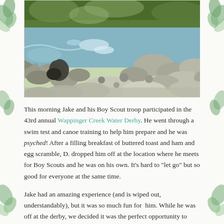[Figure (photo): A rocky creek or stream with flowing water, surrounded by rocks, boulders, and green vegetation on the banks. Natural outdoor setting.]
This morning Jake and his Boy Scout troop participated in the 43rd annual Wappinger Creek Water Derby. He went through a swim test and canoe training to help him prepare and he was psyched! After a filling breakfast of buttered toast and ham and egg scramble, D. dropped him off at the location where he meets for Boy Scouts and he was on his own. It’s hard to “let go” but so good for everyone at the same time.
Jake had an amazing experience (and is wiped out, understandably), but it was so much fun for  him. While he was off at the derby, we decided it was the perfect opportunity to